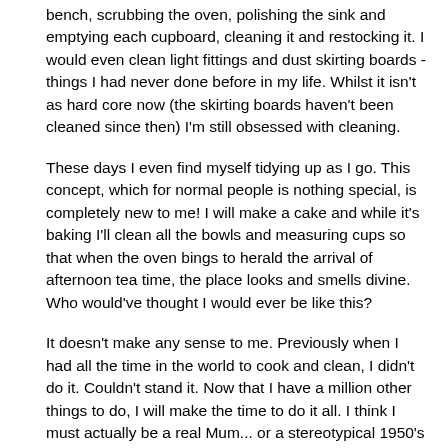bench, scrubbing the oven, polishing the sink and emptying each cupboard, cleaning it and restocking it. I would even clean light fittings and dust skirting boards - things I had never done before in my life. Whilst it isn't as hard core now (the skirting boards haven't been cleaned since then) I'm still obsessed with cleaning.
These days I even find myself tidying up as I go. This concept, which for normal people is nothing special, is completely new to me! I will make a cake and while it's baking I'll clean all the bowls and measuring cups so that when the oven bings to herald the arrival of afternoon tea time, the place looks and smells divine. Who would've thought I would ever be like this?
It doesn't make any sense to me. Previously when I had all the time in the world to cook and clean, I didn't do it. Couldn't stand it. Now that I have a million other things to do, I will make the time to do it all. I think I must actually be a real Mum... or a stereotypical 1950's housewife - where's Mother's Little Helper when you need it?